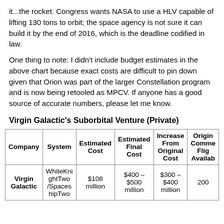it...the rocket. Congress wants NASA to use a HLV capable of lifting 130 tons to orbit; the space agency is not sure it can build it by the end of 2016, which is the deadline codified in law.
One thing to note: I didn't include budget estimates in the above chart because exact costs are difficult to pin down given that Orion was part of the larger Constellation program and is now being retooled as MPCV. If anyone has a good source of accurate numbers, please let me know.
Virgin Galactic's Suborbital Venture (Private)
| Company | System | Estimated Cost | Estimated Final Cost | Increase From Original Cost | Original Commercial Flight Available |
| --- | --- | --- | --- | --- | --- |
| Virgin Galactic | WhiteKnightTwo /SpaceshipTwo | $108 million | $400 – $500 million | $300 – $400 million | 200 |